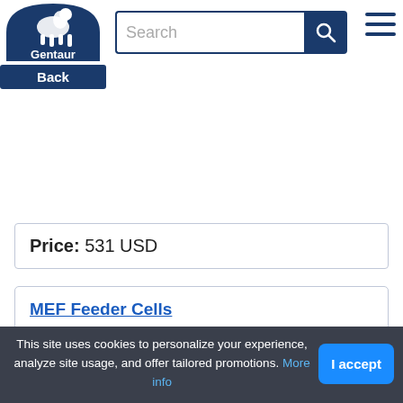[Figure (logo): Gentaur logo — white centaur figure on dark blue arch background with 'Gentaur' text below]
[Figure (screenshot): Search input box with placeholder text 'Search' and a dark blue search button with magnifying glass icon]
[Figure (screenshot): Hamburger menu icon (three horizontal lines) in dark blue]
Price: 531 USD
MEF Feeder Cells
Catalog number: MBS168562
Supplier: MyBioSource
Size: 1 Vial
Price: 464 USD
This site uses cookies to personalize your experience, analyze site usage, and offer tailored promotions. More info